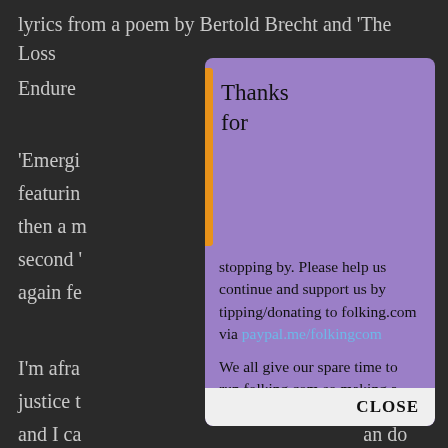lyrics from a poem by Bertold Brecht and 'The Loss Endure... t.
'Emergi... iece featurin... and then a m... the second '... us', again fe...
I'm afra... do justice t... ere and I ca... an do better.
[Figure (illustration): Two ornately decorated violins on an orange background, shown as an album art style image.]
Thanks for
stopping by. Please help us continue and support us by tipping/donating to folking.com via paypal.me/folkingcom
We all give our spare time to run folking.com so making a donation/ tip makes all the
Dai Jeff...
Artist's ... k/
'Old Wa...
CLOSE